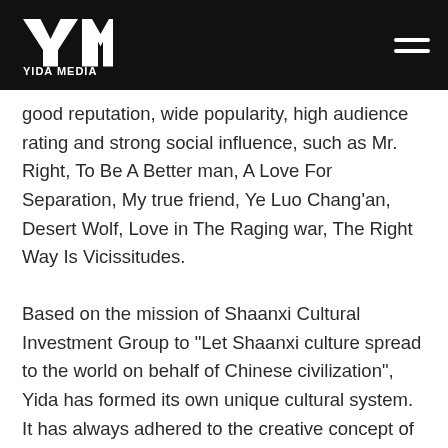YIDA MEDIA
good reputation, wide popularity, high audience rating and strong social influence, such as Mr. Right, To Be A Better man, A Love For Separation, My true friend, Ye Luo Chang'an, Desert Wolf, Love in The Raging war, The Right Way Is Vicissitudes.
Based on the mission of Shaanxi Cultural Investment Group to "Let Shaanxi culture spread to the world on behalf of Chinese civilization", Yida has formed its own unique cultural system. It has always adhered to the creative concept of "creating original high-quality works and its own IP", focusing on "creating content with profundity, warmth, high quality and great influence". Since its establishment, Yida's